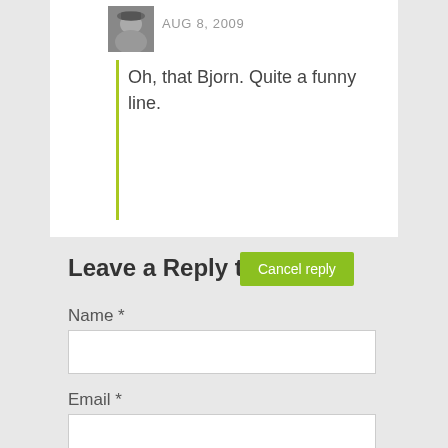AUG 8, 2009
Oh, that Bjorn. Quite a funny line.
Leave a Reply to Kali
Cancel reply
Name *
Email *
Website
Comment